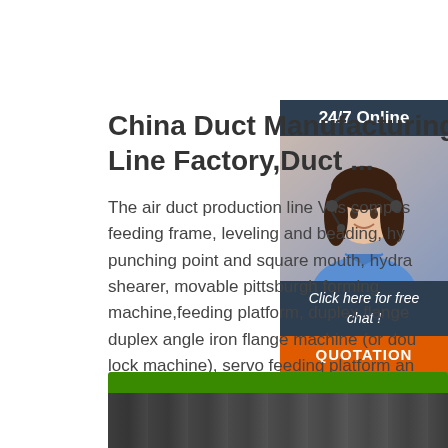China Duct Manufacturing Line Factory,Duct ...
The air duct production line V is composed of feeding frame, leveling and beading, hydraulic punching point and square mouth, hydraulic shearer, movable pittsburgh forming machine,feeding platform, duplex flange, duplex angle iron flange machine (or double lock machine), servo feeding platform and hydraulic folding.
[Figure (screenshot): Customer service widget showing a woman with headset, 24/7 Online banner, Click here for free chat text, and QUOTATION button]
Get Price
[Figure (photo): Partial view of a factory floor with industrial equipment, dark tones]